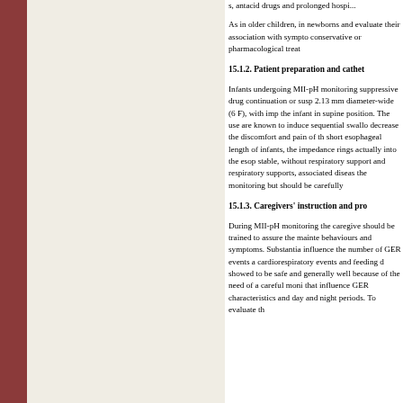s, antacid drugs and prolonged hospi...
As in older children, in newborns and evaluate their association with sympto conservative or pharmacological treat
15.1.2. Patient preparation and cathet
Infants undergoing MII-pH monitoring suppressive drug continuation or susp 2.13 mm diameter-wide (6 F), with imp the infant in supine position. The use are known to induce sequential swallo decrease the discomfort and pain of th short esophageal length of infants, the impedance rings actually into the esop stable, without respiratory support and respiratory supports, associated diseas the monitoring but should be carefully
15.1.3. Caregivers' instruction and pro
During MII-pH monitoring the caregive should be trained to assure the mainte behaviours and symptoms. Substantia influence the number of GER events a cardiorespiratory events and feeding d showed to be safe and generally well because of the need of a careful moni that influence GER characteristics and day and night periods. To evaluate th